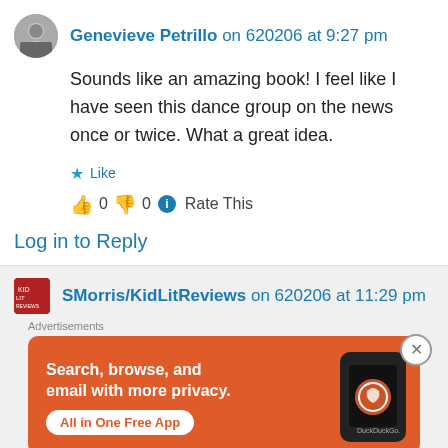Genevieve Petrillo on 620206 at 9:27 pm
Sounds like an amazing book! I feel like I have seen this dance group on the news once or twice. What a great idea.
👍 0 👎 0 ℹ Rate This
Log in to Reply
SMorris/KidLitReviews on 620206 at 11:29 pm
[Figure (screenshot): DuckDuckGo advertisement: 'Search, browse, and email with more privacy. All in One Free App' with DuckDuckGo logo on a phone mockup, orange background.]
Advertisements